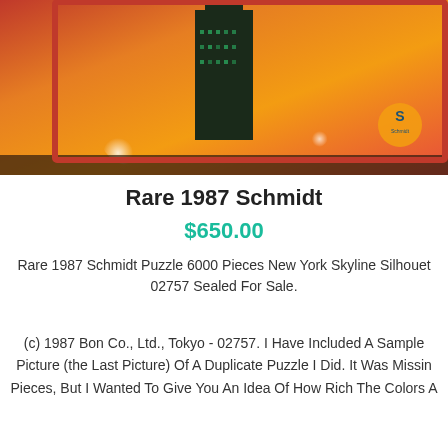[Figure (photo): Puzzle box photo showing a New York skyline silhouette at night with orange/red sky and illuminated building, Schmidt brand logo visible in bottom right corner]
Rare 1987 Schmidt
$650.00
Rare 1987 Schmidt Puzzle 6000 Pieces New York Skyline Silhouette 02757 Sealed For Sale.
(c) 1987 Bon Co., Ltd., Tokyo - 02757. I Have Included A Sample Picture (the Last Picture) Of A Duplicate Puzzle I Did. It Was Missing Pieces, But I Wanted To Give You An Idea Of How Rich The Colors A